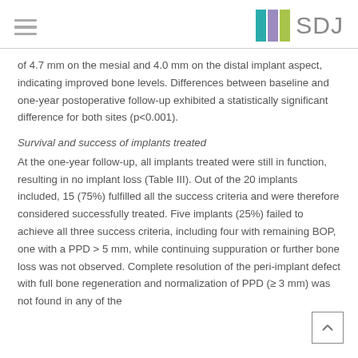SDJ
of 4.7 mm on the mesial and 4.0 mm on the distal implant aspect, indicating improved bone levels. Differences between baseline and one-year postoperative follow-up exhibited a statistically significant difference for both sites (p<0.001).
Survival and success of implants treated
At the one-year follow-up, all implants treated were still in function, resulting in no implant loss (Table III). Out of the 20 implants included, 15 (75%) fulfilled all the success criteria and were therefore considered successfully treated. Five implants (25%) failed to achieve all three success criteria, including four with remaining BOP, one with a PPD > 5 mm, while continuing suppuration or further bone loss was not observed. Complete resolution of the peri-implant defect with full bone regeneration and normalization of PPD (≥ 3 mm) was not found in any of the